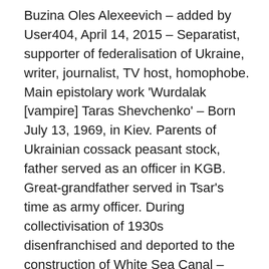Buzina Oles Alexeevich – added by User404, April 14, 2015 – Separatist, supporter of federalisation of Ukraine, writer, journalist, TV host, homophobe. Main epistolary work 'Wurdalak [vampire] Taras Shevchenko' – Born July 13, 1969, in Kiev. Parents of Ukrainian cossack peasant stock, father served as an officer in KGB. Great-grandfather served in Tsar's time as army officer. During collectivisation of 1930s disenfranchised and deported to the construction of White Sea Canal – Studies : Kiev Special Secondary School #82, graduated from Kiev National University with a degree in philology and Russian Literature – Worked at several Kiev print media starting from 1993 (Kiev Vedomosti, magazines 'Reader's Friend', 'Nathalie', 'Ego', 'XXL') – Since 2007 regularly publishes his op-eds in newspaper 'Segodnya' – Ran for the office of Ukraine MP from 'Russian Bloc' party, got 4th place with